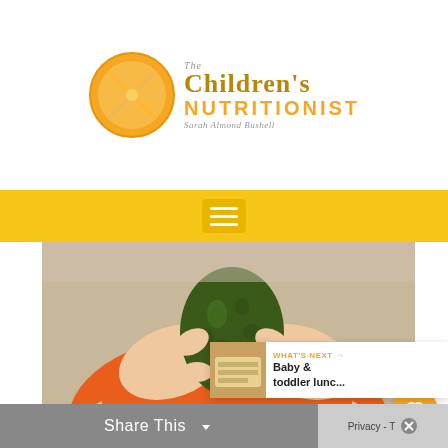[Figure (logo): The Children's Nutritionist logo with orange slice and script text 'Sarah Almond Bushell']
[Figure (photo): Baby/toddler hands holding a green avocado, wearing an orange outfit, close-up photo]
56
WHAT'S NEXT → Baby & toddler lunc...
Share This